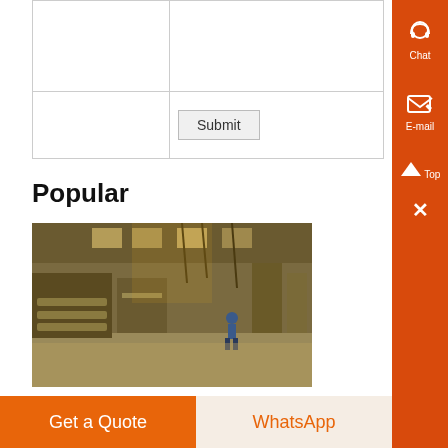|  | (text input area) |
|  | Submit |
Popular
[Figure (photo): Industrial factory/warehouse interior with machinery, conveyor belts, and a worker visible in the background. Warm yellowish lighting.]
small jaw crusher 20 t h process rymond mills
Crusher - Wikipedia A crusher is a machine designed to reduce large rocks into smaller rocks, gravel, or rock dust ,
Get a Quote
WhatsApp